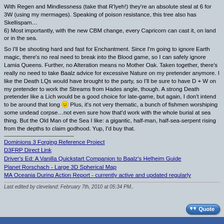With Regen and Mindlessness (take that R'lyeh!) they're an absolute steal at 6 for 3W (using my mermages). Speaking of poison resistance, this tree also has Skellispam…
6) Most importantly, with the new CBM change, every Capricorn can cast it, on land or in the sea.

So I'll be shooting hard and fast for Enchantment. Since I'm going to ignore Earth magic, there's no real need to break into the Blood game, so I can safely ignore Lamia Queens. Further, no Alteration means no Mother Oak. Taken together, there's really no need to take Baalz advice for excessive Nature on my pretender anymore. I like the Death LQs would have brought to the party, so I'll be sure to have D + W on my pretender to work the Streams from Hades angle, though. A strong Death pretender like a Lich would be a good choice for late-game, but again, I don't intend to be around that long 🙂 Plus, it's not very thematic, a bunch of fishmen worshiping some undead corpse…not even sure how that'd work with the whole burial at sea thing. But the Old Man of the Sea I like: a gigantic, half-man, half-sea-serpent rising from the depths to claim godhood. Yup, I'd buy that.
Dominions 3 Forging Reference Project
D3FRP Direct Link
Driver's Ed: A Vanilla Quickstart Companion to Baalz's Helheim Guide
Planet Rorschach - Large 3D Spherical Map
MA Oceania During Action Report - currently active and updated regularly
Last edited by cleveland; February 7th, 2010 at 05:34 PM..